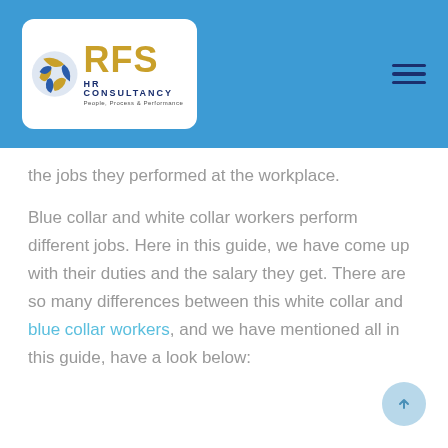[Figure (logo): RFS HR Consultancy logo with circular blue/gold emblem and text 'RFS HR CONSULTANCY People, Process & Performance' on white rounded rectangle background, set within a blue header bar with hamburger menu icon on the right]
the jobs they performed at the workplace.
Blue collar and white collar workers perform different jobs. Here in this guide, we have come up with their duties and the salary they get. There are so many differences between this white collar and blue collar workers, and we have mentioned all in this guide, have a look below: